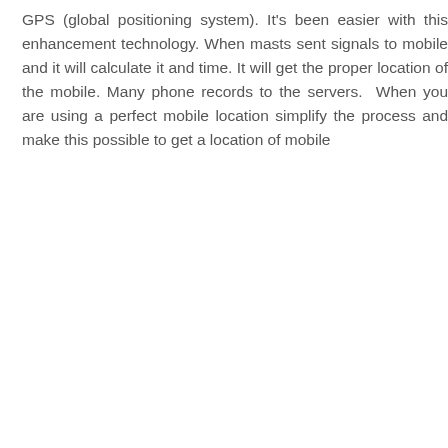GPS (global positioning system). It's been easier with this enhancement technology. When masts sent signals to mobile and it will calculate it and time. It will get the proper location of the mobile. Many phone records to the servers. When you are using a perfect mobile location simplify the process and make this possible to get a location of mobile